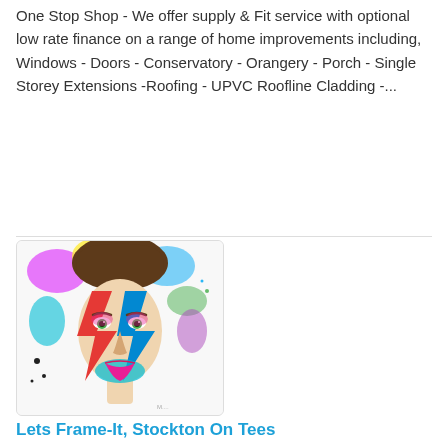One Stop Shop - We offer supply & Fit service with optional low rate finance on a range of home improvements including, Windows - Doors - Conservatory - Orangery - Porch - Single Storey Extensions -Roofing - UPVC Roofline Cladding -...
[Figure (illustration): Colorful artistic portrait illustration of a face with bold rainbow face paint in zigzag lightning bolt pattern, vivid splatter paint background in pink, yellow, green, blue and purple colors]
Lets Frame-It, Stockton On Tees